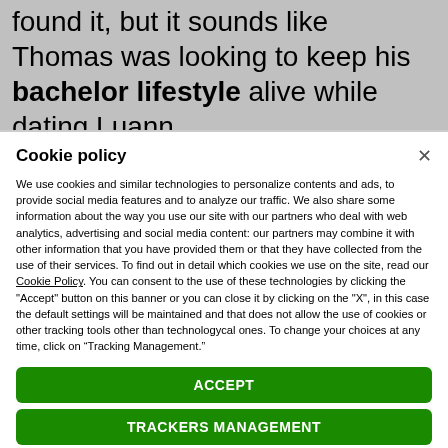found it, but it sounds like Thomas was looking to keep his bachelor lifestyle alive while dating Luann.
Cookie policy
We use cookies and similar technologies to personalize contents and ads, to provide social media features and to analyze our traffic. We also share some information about the way you use our site with our partners who deal with web analytics, advertising and social media content: our partners may combine it with other information that you have provided them or that they have collected from the use of their services. To find out in detail which cookies we use on the site, read our Cookie Policy. You can consent to the use of these technologies by clicking the "Accept" button on this banner or you can close it by clicking on the "X", in this case the default settings will be maintained and that does not allow the use of cookies or other tracking tools other than technologycal ones. To change your choices at any time, click on “Tracking Management.”
ACCEPT
TRACKERS MANAGEMENT
Show vendors | Show purposes